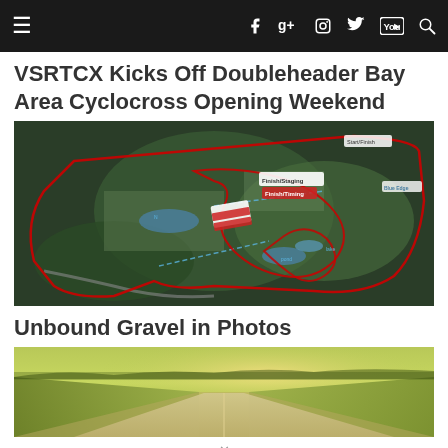Navigation bar with hamburger menu, Facebook, Google+, Instagram, Twitter, YouTube, Search icons
VSRTCX Kicks Off Doubleheader Bay Area Cyclocross Opening Weekend
[Figure (map): Aerial satellite map of a cyclocross race course with red route markings overlaid on green terrain, showing course layout with various labels]
Unbound Gravel in Photos
[Figure (photo): Aerial photo of a gravel road cutting through yellow-green fields under warm sunlight]